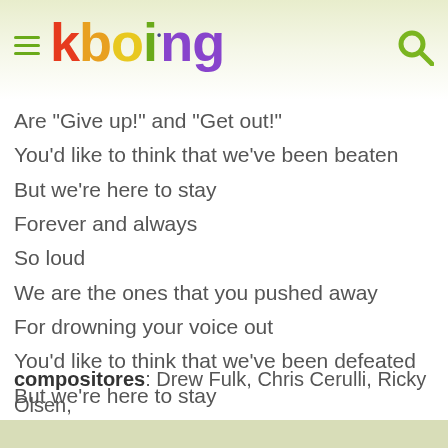kboing
Are "Give up!" and "Get out!"
You'd like to think that we've been beaten
But we're here to stay
Forever and always
So loud
We are the ones that you pushed away
For drowning your voice out
You'd like to think that we've been defeated
But we're here to stay
Forever and always
compositores: Drew Fulk, Chris Cerulli, Ricky Olsen,